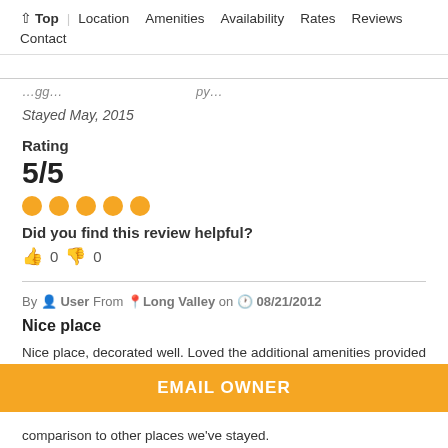↑ Top  |  Location  Amenities  Availability  Rates  Reviews
Contact
…[truncated line]…
Stayed May, 2015
Rating
5/5
★★★★★ (5 gold dots)
Did you find this review helpful?
👍 0  👎 0
By User From Long Valley on 08/21/2012
Nice place
Nice place, decorated well. Loved the additional amenities provided (10 beach badges, papertowels, cleaning supplies, beach chairs). The place can comfortably accomodate 10 people
EMAIL OWNER
comparison to other places we've stayed.